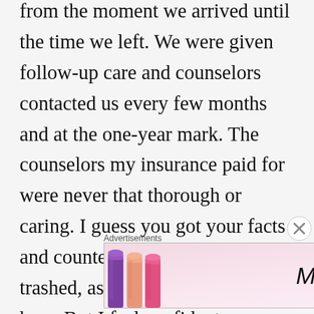from the moment we arrived until the time we left. We were given follow-up care and counselors contacted us every few months and at the one-year mark. The counselors my insurance paid for were never that thorough or caring. I guess you got your facts and counterpoint. I'm sure I'll get trashed, as it seems de rigeur here. But I feel confident my point has been made and hope there are some that see this and are not discouraged.
Advertisements
[Figure (photo): MAC cosmetics advertisement showing colorful lipsticks (purple, peach, pink, red) alongside the MAC logo and a 'SHOP NOW' button]